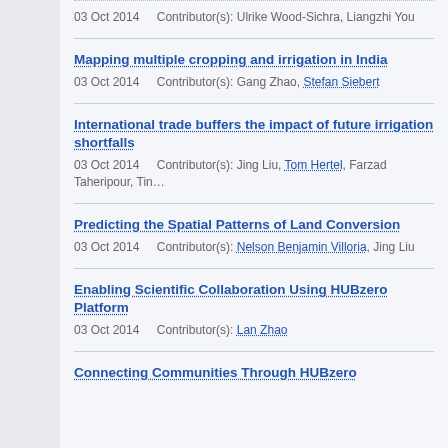03 Oct 2014   Contributor(s): Ulrike Wood-Sichra, Liangzhi You
Mapping multiple cropping and irrigation in India
03 Oct 2014   Contributor(s): Gang Zhao, Stefan Siebert
International trade buffers the impact of future irrigation shortfalls
03 Oct 2014   Contributor(s): Jing Liu, Tom Hertel, Farzad Taheripour, Ting…
Predicting the Spatial Patterns of Land Conversion
03 Oct 2014   Contributor(s): Nelson Benjamin Villoria, Jing Liu
Enabling Scientific Collaboration Using HUBzero Platform
03 Oct 2014   Contributor(s): Lan Zhao
Connecting Communities Through HUBzero